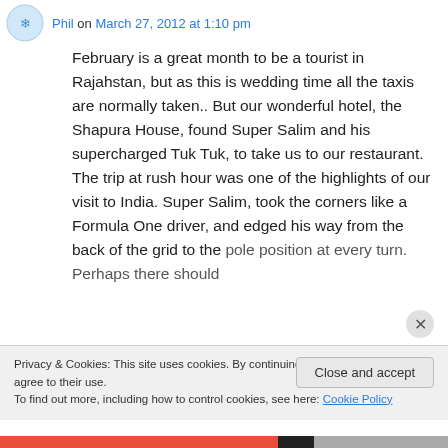Phil on March 27, 2012 at 1:10 pm
February is a great month to be a tourist in Rajahstan, but as this is wedding time all the taxis are normally taken.. But our wonderful hotel, the Shapura House, found Super Salim and his supercharged Tuk Tuk, to take us to our restaurant. The trip at rush hour was one of the highlights of our visit to India. Super Salim, took the corners like a Formula One driver, and edged his way from the back of the grid to the pole position at every turn. Perhaps there should
Privacy & Cookies: This site uses cookies. By continuing to use this website, you agree to their use.
To find out more, including how to control cookies, see here: Cookie Policy